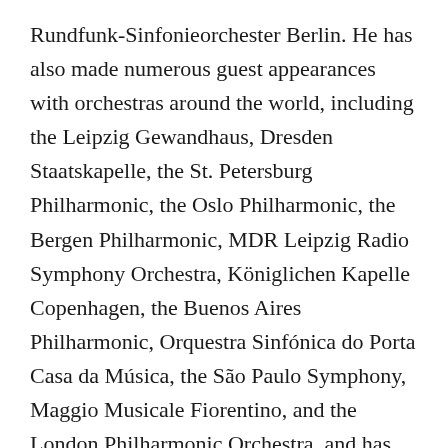Rundfunk-Sinfonieorchester Berlin. He has also made numerous guest appearances with orchestras around the world, including the Leipzig Gewandhaus, Dresden Staatskapelle, the St. Petersburg Philharmonic, the Oslo Philharmonic, the Bergen Philharmonic, MDR Leipzig Radio Symphony Orchestra, Königlichen Kapelle Copenhagen, the Buenos Aires Philharmonic, Orquestra Sinfónica do Porta Casa da Música, the São Paulo Symphony, Maggio Musicale Fiorentino, and the London Philharmonic Orchestra, and has led a myriad of opera productions and ballets in many prestigious houses, including Teatro alla Scala, Bayerische Staatsoper, the Bolshoi, Opernhaus Zürich, and Malmö Opera. He has also led televised concerts and radio recordings in Oslo, Norrköping, Berlin, Stuttgart